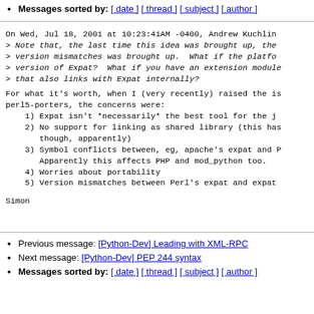Messages sorted by: [ date ] [ thread ] [ subject ] [ author ]
On Wed, Jul 18, 2001 at 10:23:41AM -0400, Andrew Kuchling
> Note that, the last time this idea was brought up, the
> version mismatches was brought up.  What if the platfo
> version of Expat?  What if you have an extension module
> that also links with Expat internally?
For what it's worth, when I (very recently) raised the is
perl5-porters, the concerns were:
    1) Expat isn't *necessarily* the best tool for the j
    2) No support for linking as shared library (this has
       though, apparently)
    3) Symbol conflicts between, eg, apache's expat and P
       Apparently this affects PHP and mod_python too.
    4) Worries about portability
    5) Version mismatches between Perl's expat and expat
Simon
Previous message: [Python-Dev] Leading with XML-RPC
Next message: [Python-Dev] PEP 244 syntax
Messages sorted by: [ date ] [ thread ] [ subject ] [ author ]